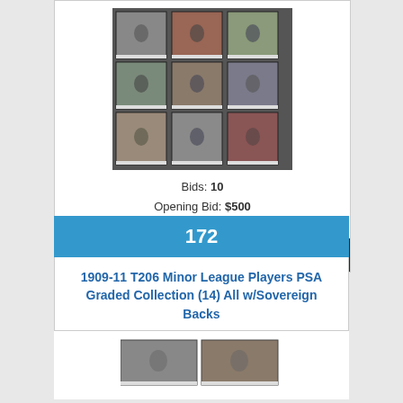[Figure (photo): Grid of 9 PSA graded baseball cards from 1909-11 T206 set arranged in a 3x3 layout]
Bids: 10
Opening Bid: $500
Status: Open
CURRENT BID $2,092
172
1909-11 T206 Minor League Players PSA Graded Collection (14) All w/Sovereign Backs
[Figure (photo): Partial view of PSA graded baseball cards at bottom of page]